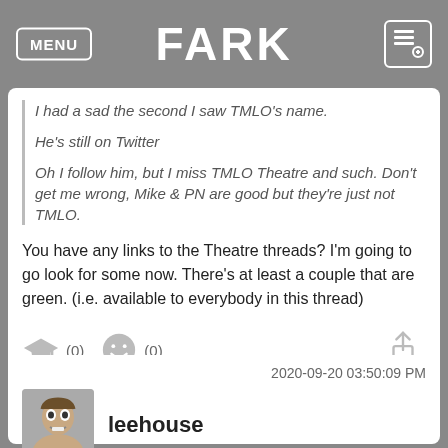FARK
I had a sad the second I saw TMLO's name.

He's still on Twitter

Oh I follow him, but I miss TMLO Theatre and such. Don't get me wrong, Mike & PN are good but they're just not TMLO.
You have any links to the Theatre threads? I'm going to go look for some now. There's at least a couple that are green. (i.e. available to everybody in this thread)
2020-09-20 03:50:09 PM
leehouse